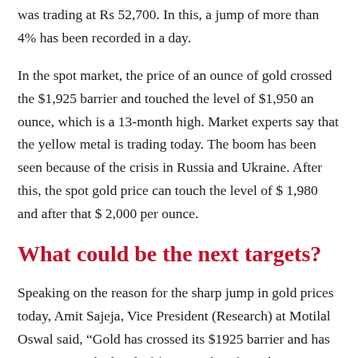was trading at Rs 52,700. In this, a jump of more than 4% has been recorded in a day.
In the spot market, the price of an ounce of gold crossed the $1,925 barrier and touched the level of $1,950 an ounce, which is a 13-month high. Market experts say that the yellow metal is trading today. The boom has been seen because of the crisis in Russia and Ukraine. After this, the spot gold price can touch the level of $ 1,980 and after that $ 2,000 per ounce.
What could be the next targets?
Speaking on the reason for the sharp jump in gold prices today, Amit Sajeja, Vice President (Research) at Motilal Oswal said, “Gold has crossed its $1925 barrier and has now risen to the level of $1,950. Therefore, the next targets for the spot gold price are $1,980 and $2,000, which can be achieved in a short period of time. This rise in